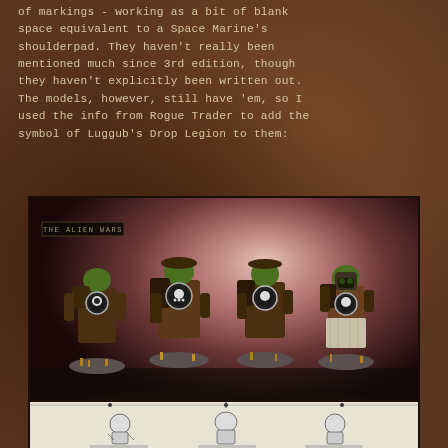of markings - working as a bit of blank space equivalent to a Space Marine's shoulderpad. They haven't really been mentioned much since 3rd edition, though they haven't explicitly been written out. The models, however, still have 'em, so I used the info from Rogue Trader to add the symbol of Luggub's Drop Legion to them:
[Figure (photo): Photograph of four Ork miniature figures from behind, showing backpacks with circular white/black faction symbols. The Orks have green skin and brown leather gear. A watermark reading 'THE ALIEN WARS' is visible in the top-left of the image. Background is a reddish-pink smoky gradient.]
[Figure (illustration): A partial view of a reference diagram or illustration showing Ork figures in black and white line art, partially cut off at the bottom of the page.]